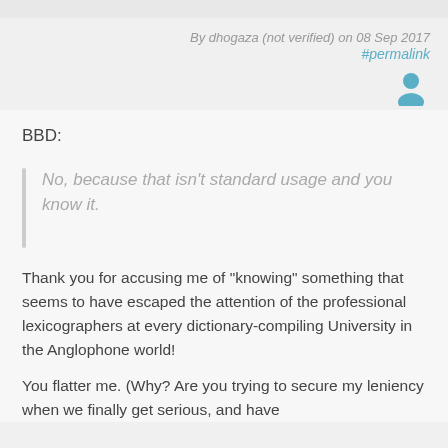By dhogaza (not verified) on 08 Sep 2017
#permalink
BBD:
No, because that isn't standard usage and you know it.
Thank you for accusing me of "knowing" something that seems to have escaped the attention of the professional lexicographers at every dictionary-compiling University in the Anglophone world!
You flatter me. (Why? Are you trying to secure my leniency when we finally get serious, and have